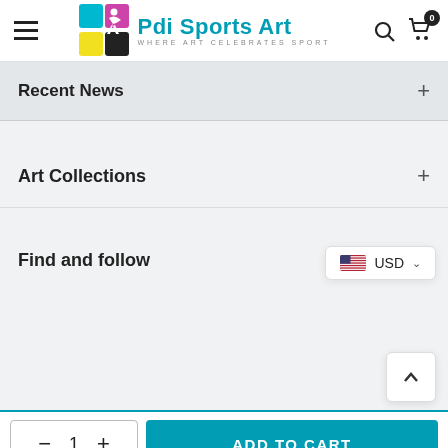Pdi Sports Art — WHERE ART CELEBRATES SPORT
Recent News
Art Collections
Find and follow
USD
ADD TO CART
1
Shop  Wishlist  Cart  Account  Search